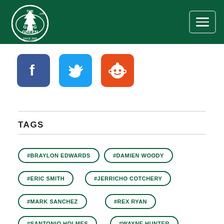The Gang Green
[Figure (logo): The Gang Green football fan site logo - circular logo with football and tree on dark green background]
[Figure (infographic): Social media icons: Facebook (blue), Twitter (blue), Reddit (orange-red)]
TAGS
#BRAYLON EDWARDS
#DAMIEN WOODY
#ERIC SMITH
#JERRICHO COTCHERY
#MARK SANCHEZ
#REX RYAN
#SANTONIO HOLMES
#WAYNE HUNTER